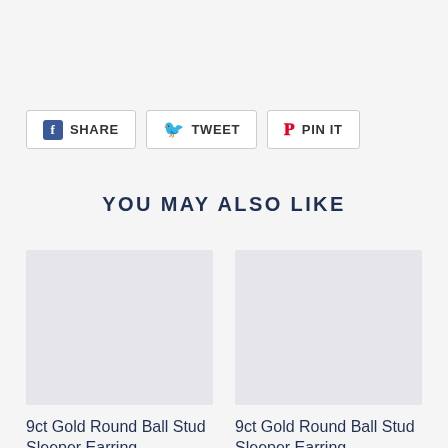[Figure (other): Social share buttons row: SHARE (Facebook), TWEET (Twitter), PIN IT (Pinterest)]
YOU MAY ALSO LIKE
[Figure (photo): Placeholder image for 9ct Gold Round Ball Stud Sleeper Earring product (left)]
9ct Gold Round Ball Stud Sleeper Earring
[Figure (photo): Placeholder image for 9ct Gold Round Ball Stud Sleeper Earring product (right)]
9ct Gold Round Ball Stud Sleeper Earring